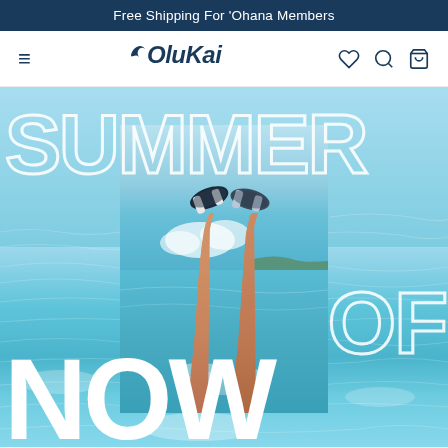Free Shipping For 'Ohana Members
OluKai
[Figure (photo): OluKai website screenshot showing a summer promotional hero image. Large outlined text reads 'SUMMER' at top left and 'OF' at right, with 'NOW' in solid white at the bottom left. A center photo inset shows two legs raised from ocean water wearing OluKai flip flops/sandals, with turquoise ocean and sky in the background.]